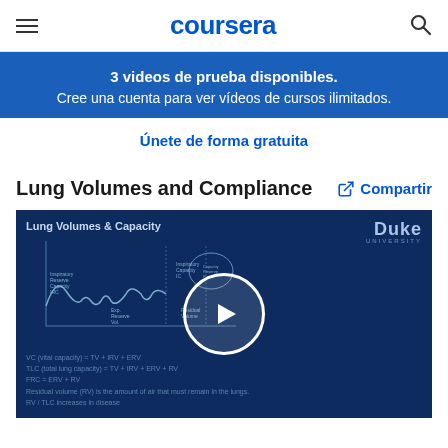coursera
3 videos de prueba disponibles.
Cree una cuenta para ver vídeos de cursos ilimitados.
Únete de forma gratuita
Lung Volumes and Compliance
Compartir
[Figure (screenshot): Video thumbnail showing a lecture slide titled 'Lung Volumes & Capacity' with a spirometry graph, lung volume diagrams, and Duke University branding. A white play button circle is centered over the image. Subtitle text at the bottom reads formulas about lung capacity, total lung capacity, and residual volume.]